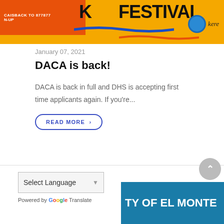[Figure (illustration): Banner with yellow/orange background, orange box with text 'CAISBACK TO 877877 N-UP', large bold text partially visible, blue and orange wave decorations, United We Dream and 'kere' logos]
January 07, 2021
DACA is back!
DACA is back in full and DHS is accepting first time applicants again. If you're...
READ MORE ›
Select Language
Powered by Google Translate
[Figure (screenshot): Teal/blue banner with white text 'TY OF EL MONTE' partially visible at bottom right]